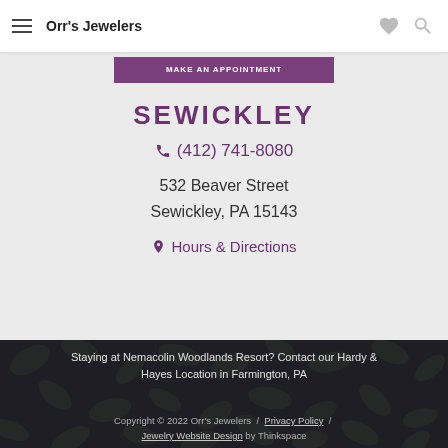Orr's Jewelers
SEWICKLEY
(412) 741-8080
532 Beaver Street
Sewickley, PA 15143
Hours & Directions
Staying at Nemacolin Woodlands Resort? Contact our Hardy & Hayes Location in Farmington, PA
Copyright © 2022 Orr's Jewelers / Privacy Policy / Jewelry Website Design by Thinkspace